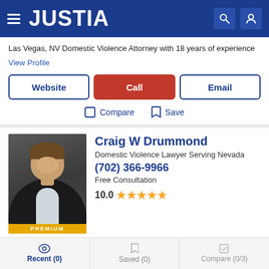JUSTIA
Las Vegas, NV Domestic Violence Attorney with 18 years of experience
View Profile
Website | Call | Email
Compare  Save
[Figure (photo): Photo of Craig W Drummond with PREMIUM badge]
Craig W Drummond
Domestic Violence Lawyer Serving Nevada
(702) 366-9966
Free Consultation
10.0 ★★★★★
Las Vegas, NV Domestic Violence Attorney with 17 years of experience
Recent (0)  Saved (0)  Compare (0/3)